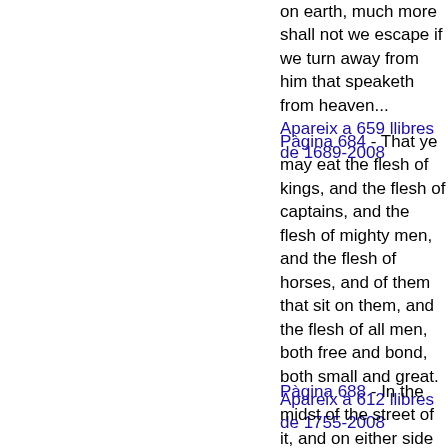on earth, much more shall not we escape if we turn away from him that speaketh from heaven... Apareix a 659 llibres de 1689-2008
Pàgina 684 - That ye may eat the flesh of kings, and the flesh of captains, and the flesh of mighty men, and the flesh of horses, and of them that sit on them, and the flesh of all men, both free and bond, both small and great. Apareix a 612 llibres de 1755-2008
Pàgina 688 - In the midst of the street of it, and on either side of the river,